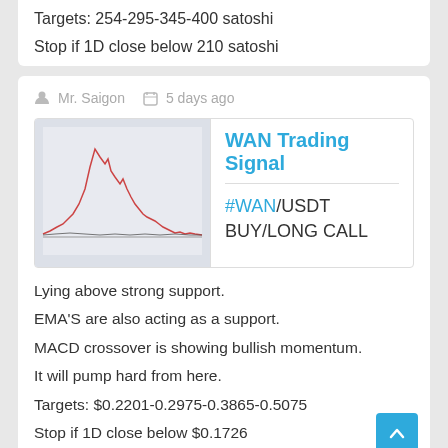Targets: 254-295-345-400 satoshi
Stop if 1D close below 210 satoshi
Mr. Saigon  5 days ago
[Figure (line-chart): Small thumbnail line chart showing WAN price action with a sharp peak then decline]
WAN Trading Signal
#WAN/USDT BUY/LONG CALL
Lying above strong support.
EMA'S are also acting as a support.
MACD crossover is showing bullish momentum.
It will pump hard from here.
Targets: $0.2201-0.2975-0.3865-0.5075
Stop if 1D close below $0.1726